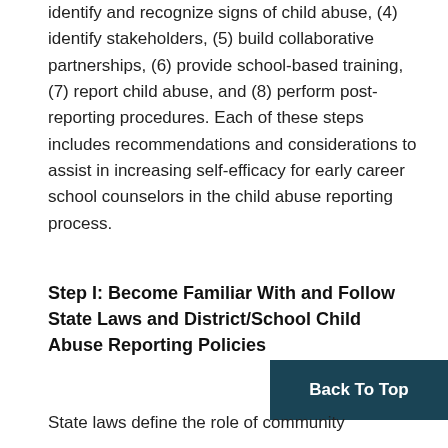identify and recognize signs of child abuse, (4) identify stakeholders, (5) build collaborative partnerships, (6) provide school-based training, (7) report child abuse, and (8) perform post-reporting procedures. Each of these steps includes recommendations and considerations to assist in increasing self-efficacy for early career school counselors in the child abuse reporting process.
Step I: Become Familiar With and Follow State Laws and District/School Child Abuse Reporting Policies
Back To Top
State laws define the role of community